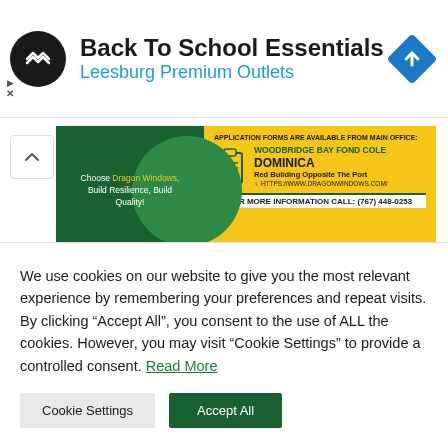[Figure (infographic): Ad banner: Back To School Essentials - Leesburg Premium Outlets with logo circle and navigation diamond icon]
[Figure (infographic): Dragon Windows advertisement banner: green and yellow colors, clipboard icon, APPLICATION FORMS ARE AVAILABLE FROM MAIN OFFICE: WOODBRIDGE BAY FOND COLE DOMINICA Red Building Opposite The Port, FOR MORE INFORMATION CALL: (767) 448-0253, https://www.dragonwindows.com/]
Related Articles
We use cookies on our website to give you the most relevant experience by remembering your preferences and repeat visits. By clicking “Accept All”, you consent to the use of ALL the cookies. However, you may visit "Cookie Settings" to provide a controlled consent. Read More